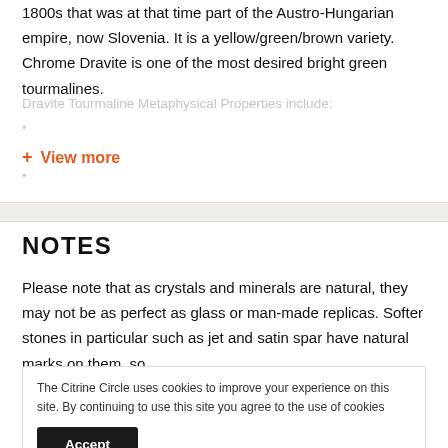1800s that was at that time part of the Austro-Hungarian empire, now Slovenia. It is a yellow/green/brown variety. Chrome Dravite is one of the most desired bright green tourmalines.
Dravite Tourmaline Metaphysical Properties include:
+ View more
NOTES
Please note that as crystals and minerals are natural, they may not be as perfect as glass or man-made replicas. Softer stones in particular such as jet and satin spar have natural marks on them, so
The Citrine Circle uses cookies to improve your experience on this site. By continuing to use this site you agree to the use of cookies
Accept